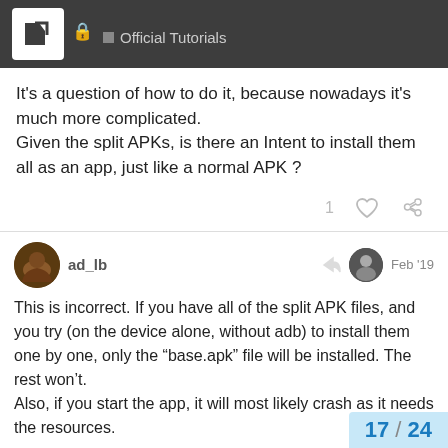Official Tutorials
It's a question of how to do it, because nowadays it's much more complicated.
Given the split APKs, is there an Intent to install them all as an app, just like a normal APK ?
ad_lb   Feb '19
This is incorrect. If you have all of the split APK files, and you try (on the device alone, without adb) to install them one by one, only the “base.apk” file will be installed. The rest won’t.
Also, if you start the app, it will most likely crash as it needs the resources.

Is there an Intent to install all of the split APK files of an app?
17 / 24